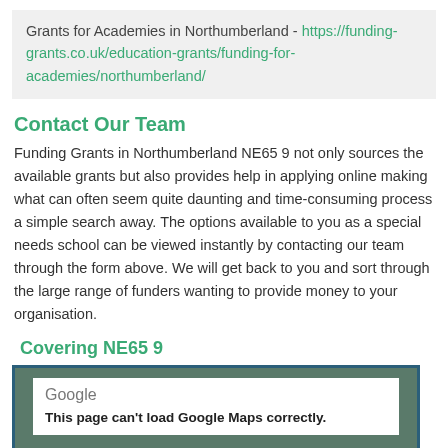Grants for Academies in Northumberland - https://funding-grants.co.uk/education-grants/funding-for-academies/northumberland/
Contact Our Team
Funding Grants in Northumberland NE65 9 not only sources the available grants but also provides help in applying online making what can often seem quite daunting and time-consuming process a simple search away. The options available to you as a special needs school can be viewed instantly by contacting our team through the form above. We will get back to you and sort through the large range of funders wanting to provide money to your organisation.
Covering NE65 9
[Figure (screenshot): Google Maps embed showing error: 'This page can't load Google Maps correctly.']